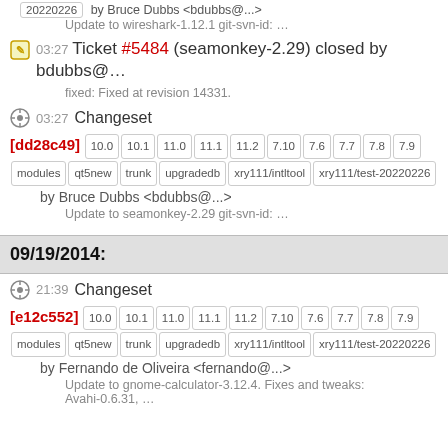20220226 by Bruce Dubbs <bdubbs@...>
Update to wireshark-1.12.1 git-svn-id: ...
03:27 Ticket #5484 (seamonkey-2.29) closed by bdubbs@...
fixed: Fixed at revision 14331.
03:27 Changeset [dd28c49] 10.0 10.1 11.0 11.1 11.2 7.10 7.6 7.7 7.8 7.9 modules qt5new trunk upgradedb xry111/intltool xry111/test-20220226 by Bruce Dubbs <bdubbs@...>
Update to seamonkey-2.29 git-svn-id: ...
09/19/2014:
21:39 Changeset [e12c552] 10.0 10.1 11.0 11.1 11.2 7.10 7.6 7.7 7.8 7.9 modules qt5new trunk upgradedb xry111/intltool xry111/test-20220226 by Fernando de Oliveira <fernando@...>
Update to gnome-calculator-3.12.4. Fixes and tweaks: Avahi-0.6.31, ...